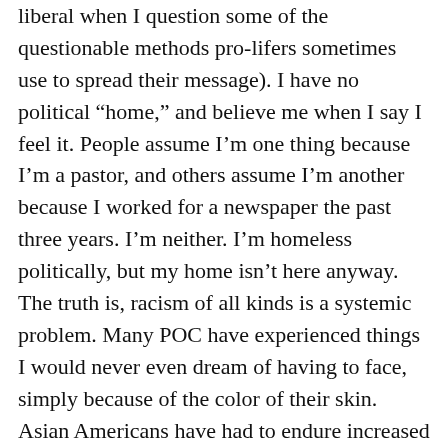liberal when I question some of the questionable methods pro-lifers sometimes use to spread their message). I have no political “home,” and believe me when I say I feel it. People assume I’m one thing because I’m a pastor, and others assume I’m another because I worked for a newspaper the past three years. I’m neither. I’m homeless politically, but my home isn’t here anyway.

The truth is, racism of all kinds is a systemic problem. Many POC have experienced things I would never even dream of having to face, simply because of the color of their skin. Asian Americans have had to endure increased racism since the coronavirus pandemic began, and there are many other incidents that would take too much time and space to mention. Instead of listening to our brothers and sisters of color, and their fears and pains, their stories are